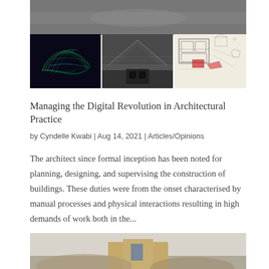[Figure (photo): Top image strip partially visible at top of page showing hands or architectural materials]
[Figure (photo): Grid of three architectural images: left shows a glowing green wireframe curved form on dark background; center shows a dark architectural rendering with triangular structural elements; right shows a hand-drawn architectural floor plan sketch with red markings]
Managing the Digital Revolution in Architectural Practice
by Cyndelle Kwabi | Aug 14, 2021 | Articles/Opinions
The architect since formal inception has been noted for planning, designing, and supervising the construction of buildings. These duties were from the onset characterised by manual processes and physical interactions resulting in high demands of work both in the...
[Figure (photo): Bottom architectural photo partially visible showing a building model or structure with warm tones]